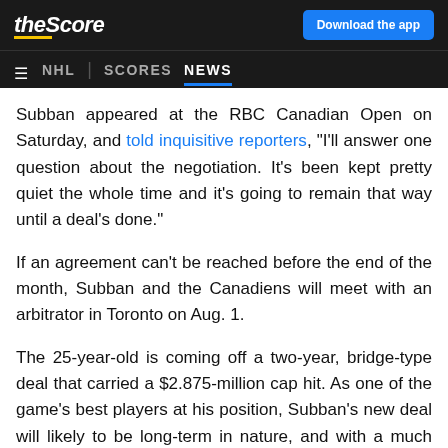theScore | Download the app
NHL | SCORES NEWS
Subban appeared at the RBC Canadian Open on Saturday, and told inquisitive reporters, "I'll answer one question about the negotiation. It's been kept pretty quiet the whole time and it's going to remain that way until a deal's done."
If an agreement can't be reached before the end of the month, Subban and the Canadiens will meet with an arbitrator in Toronto on Aug. 1.
The 25-year-old is coming off a two-year, bridge-type deal that carried a $2.875-million cap hit. As one of the game's best players at his position, Subban's new deal will likely to be long-term in nature, and with a much higher salary to boot.